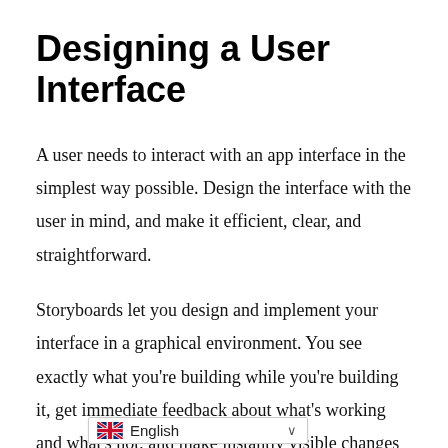Designing a User Interface
A user needs to interact with an app interface in the simplest way possible. Design the interface with the user in mind, and make it efficient, clear, and straightforward.
Storyboards let you design and implement your interface in a graphical environment. You see exactly what you’re building while you’re building it, get immediate feedback about what’s working and what’s not, and make instantly visible changes to your i…